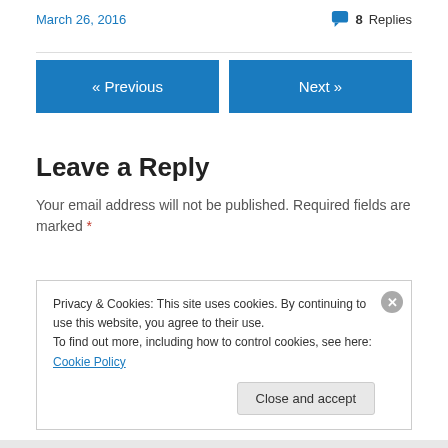March 26, 2016
8 Replies
« Previous
Next »
Leave a Reply
Your email address will not be published. Required fields are marked *
Privacy & Cookies: This site uses cookies. By continuing to use this website, you agree to their use.
To find out more, including how to control cookies, see here: Cookie Policy
Close and accept